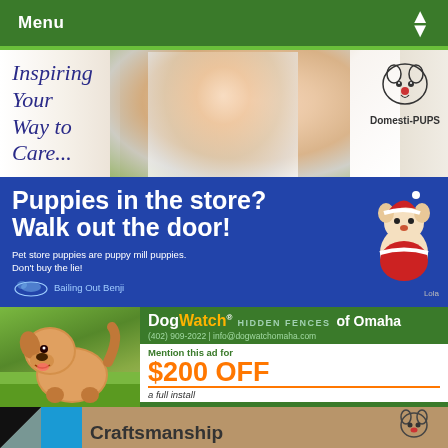Menu
[Figure (photo): Domesti-PUPS banner showing a girl with glasses hugging a golden retriever, with italic text 'Inspiring Your Way to Care...' and the Domesti-PUPS logo]
[Figure (photo): Blue advertisement: 'Puppies in the store? Walk out the door! Pet store puppies are puppy mill puppies. Don't buy the lie!' with Bailing Out Benji logo and a puppy in a Santa costume labeled 'Lola']
[Figure (photo): DogWatch Hidden Fences of Omaha advertisement with a fluffy tan dog on grass. Mention this ad for $200 OFF a full install. It's all about your dog! Phone: (402) 909-2022 | info@dogwatchomaha.com]
[Figure (photo): Partial banner showing geometric triangles pattern on left and 'Craftsmanship' text with a small dog logo, tan/brown background]